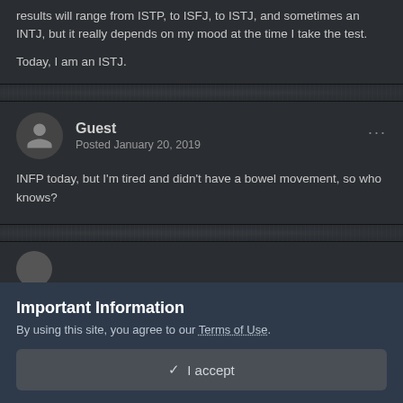results will range from ISTP, to ISFJ, to ISTJ, and sometimes an INTJ, but it really depends on my mood at the time I take the test.
Today, I am an ISTJ.
Guest
Posted January 20, 2019
INFP today, but I'm tired and didn't have a bowel movement, so who knows?
Important Information
By using this site, you agree to our Terms of Use.
✓  I accept